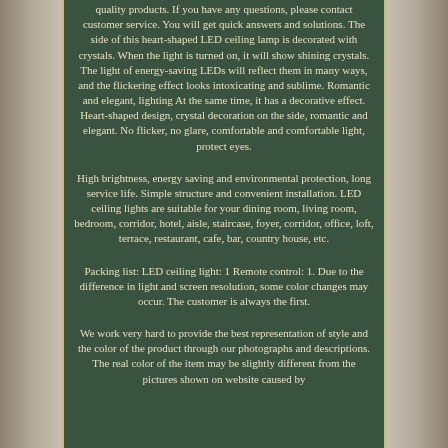quality products. If you have any questions, please contact customer service. You will get quick answers and solutions. The side of this heart-shaped LED ceiling lamp is decorated with crystals. When the light is turned on, it will show shining crystals. The light of energy-saving LEDs will reflect them in many ways, and the flickering effect looks intoxicating and sublime. Romantic and elegant, lighting At the same time, it has a decorative effect. Heart-shaped design, crystal decoration on the side, romantic and elegant. No flicker, no glare, comfortable and comfortable light, protect eyes.
High brightness, energy saving and environmental protection, long service life. Simple structure and convenient installation. LED ceiling lights are suitable for your dining room, living room, bedroom, corridor, hotel, aisle, staircase, foyer, corridor, office, loft, terrace, restaurant, cafe, bar, country house, etc.
Packing list: LED ceiling light: 1 Remote control: 1. Due to the difference in light and screen resolution, some color changes may occur. The customer is always the first.
We work very hard to provide the best representation of style and the color of the product through our photographs and descriptions. The real color of the item may be slightly different from the pictures shown on website caused by